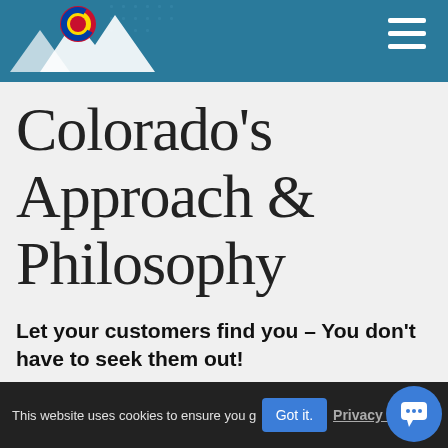Colorado logo and navigation header
Colorado's Approach & Philosophy
Let your customers find you – You don't have to seek them out!
Fast & Flexible. We create clean, valid, hack free code that meet the always evolving
This website uses cookies to ensure you get the best experience. Got it. Privacy Policy